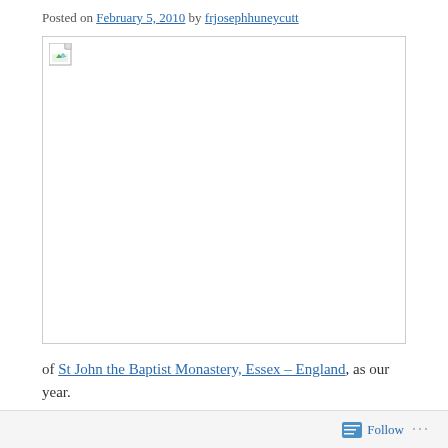Posted on February 5, 2010 by frjosephhuneycutt
[Figure (photo): A broken/missing image placeholder with a small landscape icon in the top-left corner, shown inside a bordered rectangle.]
of St John the Baptist Monastery, Essex – England, as our year.
Follow ...